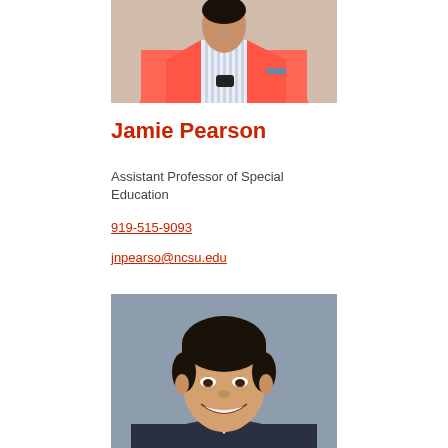[Figure (photo): Upper portion of a person wearing a bright pink/coral blazer over a striped shirt, photographed outdoors against a brick background.]
Jamie Pearson
Assistant Professor of Special Education
919-515-9093
jnpearso@ncsu.edu
[Figure (photo): Professional headshot of an East Asian man smiling, wearing a suit, photographed against a gray background.]